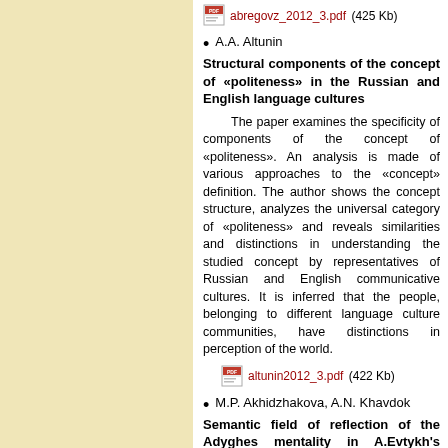abregovz_2012_3.pdf (425 Kb)
A.A. Altunin
Structural components of the concept of «politeness» in the Russian and English language cultures
The paper examines the specificity of components of the concept of «politeness». An analysis is made of various approaches to the «concept» definition. The author shows the concept structure, analyzes the universal category of «politeness» and reveals similarities and distinctions in understanding the studied concept by representatives of Russian and English communicative cultures. It is inferred that the people, belonging to different language culture communities, have distinctions in perception of the world.
altunin2012_3.pdf (422 Kb)
M.P. Akhidzhakova, A.N. Khavdok
Semantic field of reflection of the Adyghes mentality in A.Evtykh's language space
The paper discusses a system of verbal meanings which corresponds to